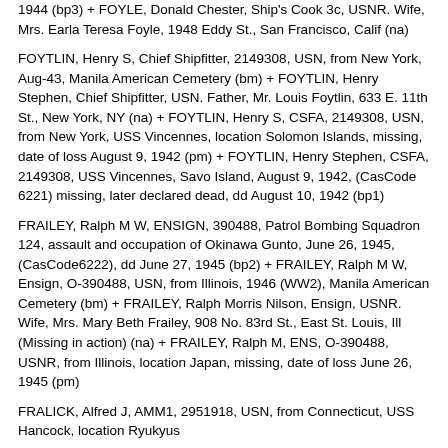1944 (bp3) + FOYLE, Donald Chester, Ship's Cook 3c, USNR. Wife, Mrs. Earla Teresa Foyle, 1948 Eddy St., San Francisco, Calif (na)
FOYTLIN, Henry S, Chief Shipfitter, 2149308, USN, from New York, Aug-43, Manila American Cemetery (bm) + FOYTLIN, Henry Stephen, Chief Shipfitter, USN. Father, Mr. Louis Foytlin, 633 E. 11th St., New York, NY (na) + FOYTLIN, Henry S, CSFA, 2149308, USN, from New York, USS Vincennes, location Solomon Islands, missing, date of loss August 9, 1942 (pm) + FOYTLIN, Henry Stephen, CSFA, 2149308, USS Vincennes, Savo Island, August 9, 1942, (CasCode 6221) missing, later declared dead, dd August 10, 1942 (bp1)
FRAILEY, Ralph M W, ENSIGN, 390488, Patrol Bombing Squadron 124, assault and occupation of Okinawa Gunto, June 26, 1945, (CasCode6222), dd June 27, 1945 (bp2) + FRAILEY, Ralph M W, Ensign, O-390488, USN, from Illinois, 1946 (WW2), Manila American Cemetery (bm) + FRAILEY, Ralph Morris Nilson, Ensign, USNR. Wife, Mrs. Mary Beth Frailey, 908 No. 83rd St., East St. Louis, Ill (Missing in action) (na) + FRAILEY, Ralph M, ENS, O-390488, USNR, from Illinois, location Japan, missing, date of loss June 26, 1945 (pm)
FRALICK, Alfred J, AMM1, 2951918, USN, from Connecticut, USS Hancock, location Ryukyus